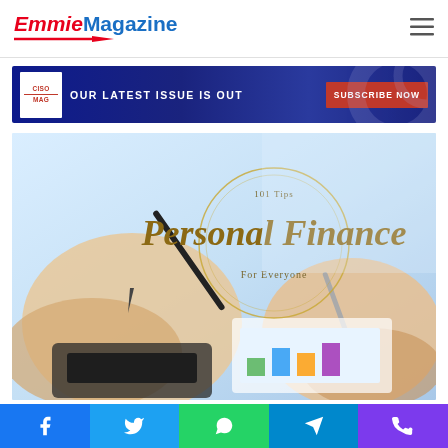Emmie Magazine
[Figure (screenshot): CISO MAG advertisement banner: dark blue background with 'OUR LATEST ISSUE IS OUT' text and red 'SUBSCRIBE NOW' button]
[Figure (photo): Personal Finance book cover image with hands writing and using calculator. Text reads '101 Tips Personal Finance For Everyone' in gold italic script on light blue background]
Social sharing bar with Facebook, Twitter, WhatsApp, Telegram, and Phone icons